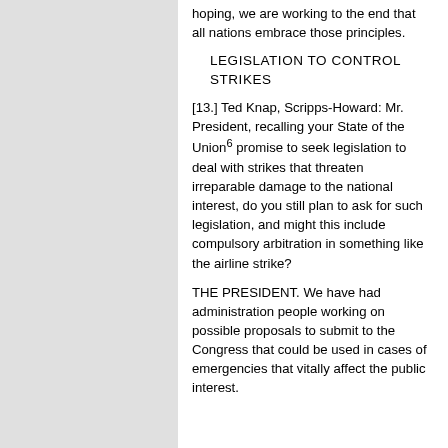hoping, we are working to the end that all nations embrace those principles.
LEGISLATION TO CONTROL STRIKES
[13.] Ted Knap, Scripps-Howard: Mr. President, recalling your State of the Union⁶ promise to seek legislation to deal with strikes that threaten irreparable damage to the national interest, do you still plan to ask for such legislation, and might this include compulsory arbitration in something like the airline strike?
THE PRESIDENT. We have had administration people working on possible proposals to submit to the Congress that could be used in cases of emergencies that vitally affect the public interest.